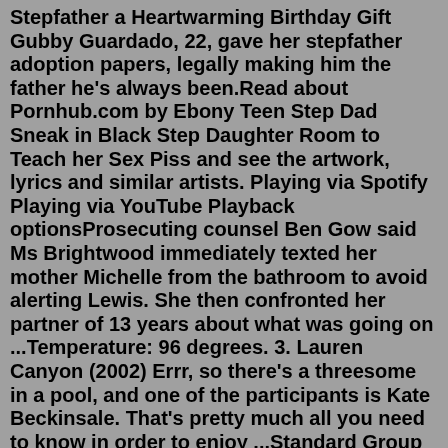Stepfather a Heartwarming Birthday Gift Gubby Guardado, 22, gave her stepfather adoption papers, legally making him the father he's always been.Read about Pornhub.com by Ebony Teen Step Dad Sneak in Black Step Daughter Room to Teach her Sex Piss and see the artwork, lyrics and similar artists. Playing via Spotify Playing via YouTube Playback optionsProsecuting counsel Ben Gow said Ms Brightwood immediately texted her mother Michelle from the bathroom to avoid alerting Lewis. She then confronted her partner of 13 years about what was going on ...Temperature: 96 degrees. 3. Lauren Canyon (2002) Errr, so there's a threesome in a pool, and one of the participants is Kate Beckinsale. That's pretty much all you need to know in order to enjoy ...Standard Group Plc HQ Office, The Standard Group Center,Mombasa Road. P.O Box 30080-00100,Nairobi, Kenya. Telephone number: 0203222111, 0719012111